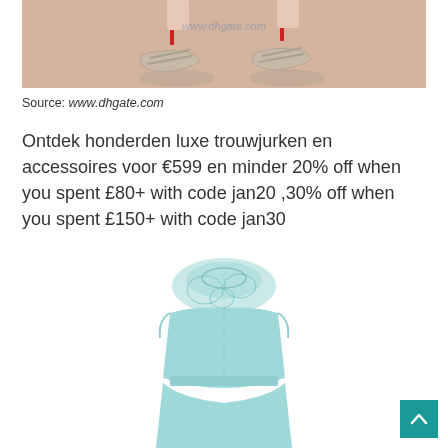[Figure (photo): Close-up of feet wearing silver/metallic high-heeled strappy sandals with red soles, on a peach/tan background. Watermark text 'www.dhgate.com' visible.]
Source: www.dhgate.com
Ontdek honderden luxe trouwjurken en accessoires voor €599 en minder 20% off when you spent £80+ with code jan20 ,30% off when you spent £150+ with code jan30
[Figure (photo): Light blue/mint sleeveless dress with lace neckline panel, fitted silhouette, shown from torso down on white background.]